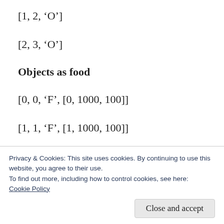[1, 2, ‘O’]
[2, 3, ‘O’]
Objects as food
[0, 0, ‘F’, [0, 1000, 100]]
[1, 1, ‘F’, [1, 1000, 100]]
[2, 0, ‘F’, [2, 1000, 100]]
Privacy & Cookies: This site uses cookies. By continuing to use this website, you agree to their use.
To find out more, including how to control cookies, see here: Cookie Policy
Close and accept